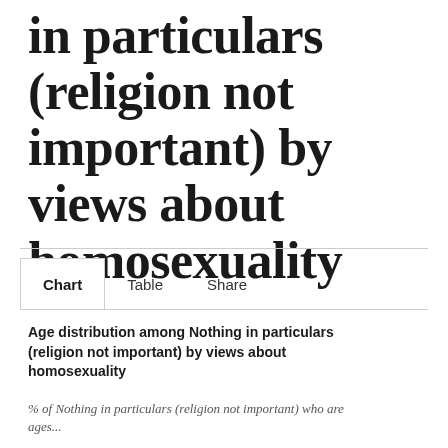in particulars (religion not important) by views about homosexuality
Chart | Table | Share
Age distribution among Nothing in particulars (religion not important) by views about homosexuality
% of Nothing in particulars (religion not important) who are ages...